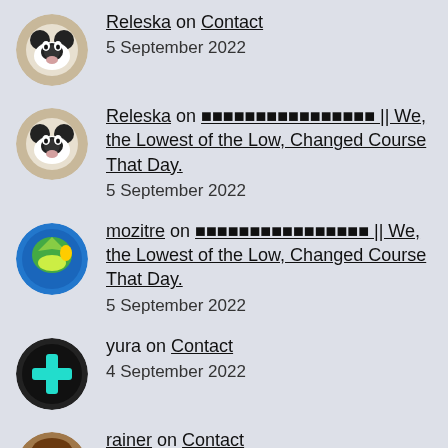Releska on Contact
5 September 2022
Releska on ???????????????? || We, the Lowest of the Low, Changed Course That Day.
5 September 2022
mozitre on ???????????????? || We, the Lowest of the Low, Changed Course That Day.
5 September 2022
yura on Contact
4 September 2022
rainer on Contact